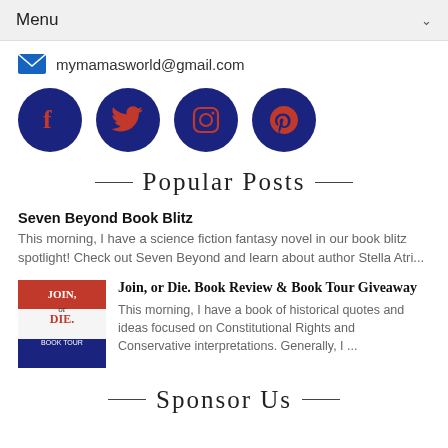Menu
mymamasworld@gmail.com
[Figure (other): Social media icons: Facebook, Twitter, Instagram, Pinterest — dark blue circles with red icons]
Popular Posts
Seven Beyond Book Blitz
This morning, I have a science fiction fantasy novel in our book blitz spotlight!  Check out Seven Beyond and learn about author Stella Atri...
[Figure (photo): Book cover for Join, or Die. Book Tour with red, white and blue patriotic design.]
Join, or Die. Book Review & Book Tour Giveaway
This morning, I have a book of historical quotes and ideas focused on Constitutional Rights and Conservative interpretations.  Generally, I ...
Sponsor Us